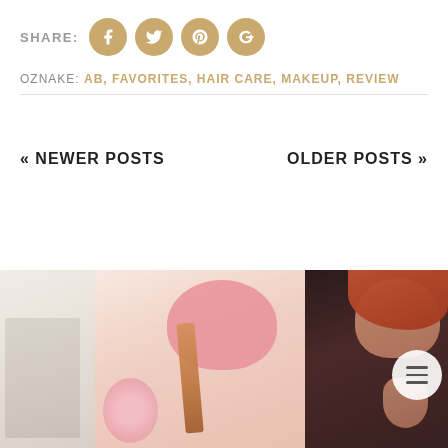SHARE:
[Figure (infographic): Social share icons: Facebook, Twitter, Pinterest, Google+ as gold circles with white icons]
OZNAKE: AB, FAVORITES, HAIR CARE, MAKEUP, REVIEW
« NEWER POSTS
OLDER POSTS »
[Figure (photo): Three thumbnail photos: left – white flatlay background, center – pink lipgloss tube with pink ribbon and flowers, right – red-haired woman portrait with hamburger menu button overlay]